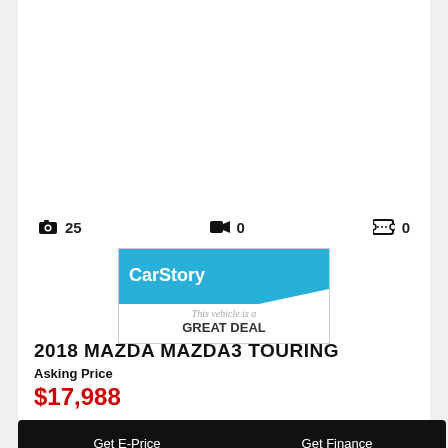[Figure (infographic): CarStory badge showing 'This vehicle is a GREAT DEAL' with blue diagonal header]
📷 25   🎥 0   🎟 0
2018 MAZDA MAZDA3 TOURING
Asking Price
$17,988
Get E-Price
Get Finance
Test Drive
Email Us
Make An Offer